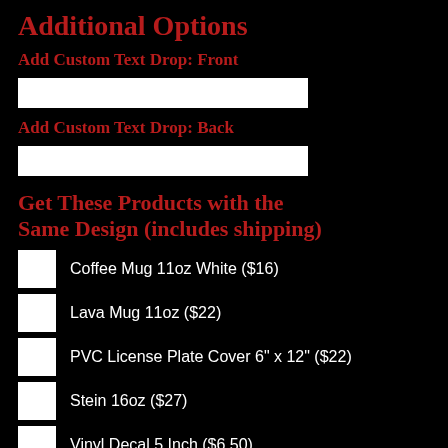Additional Options
Add Custom Text Drop: Front
[Figure (other): White text input field for front custom text drop]
Add Custom Text Drop: Back
[Figure (other): White text input field for back custom text drop]
Get These Products with the Same Design (includes shipping)
Coffee Mug 11oz White ($16)
Lava Mug 11oz ($22)
PVC License Plate Cover 6" x 12" ($22)
Stein 16oz ($27)
Vinyl Decal 5 Inch ($6.50)
Poster 18" x 24" ($16)